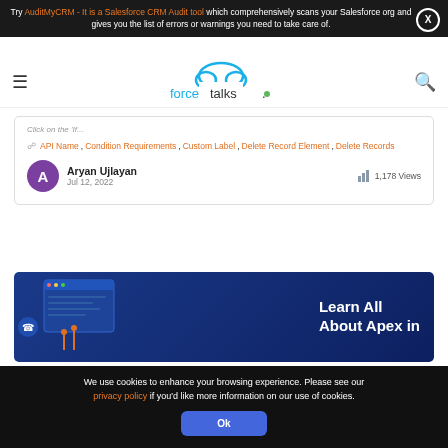Try AuditMyCRM - It is a Salesforce CRM Audit tool which comprehensively scans your Salesforce org and gives you the list of errors or warnings you need to take care of.
[Figure (logo): forcetalks logo with cloud graphic]
Click on the 'If...
API Name, Condition Requirements, Custom Label, Delete Record Element, Delete Records
Aryan Ujlayan
Jul 12, 2022
1,178 Views
[Figure (illustration): Learn All About Apex in Salesforce promotional banner with blue background and tech graphics]
We use cookies to enhance your browsing experience. Please see our privacy policy if you'd like more information on our use of cookies.
Ok